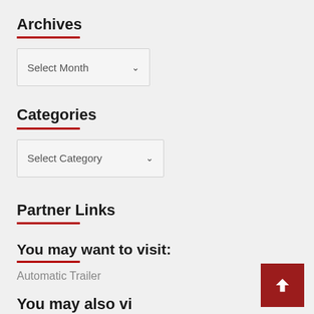Archives
[Figure (screenshot): Select Month dropdown widget with down arrow]
Categories
[Figure (screenshot): Select Category dropdown widget with down arrow]
Partner Links
You may want to visit:
Automatic Trailer
You may also visit: